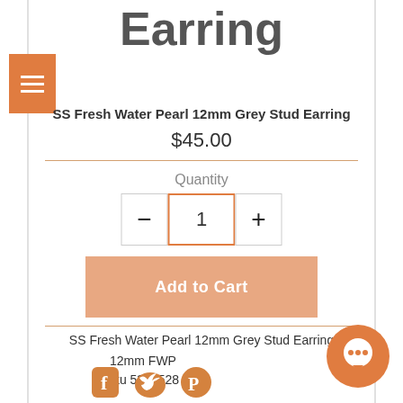Earring
SS Fresh Water Pearl 12mm Grey Stud Earring
$45.00
Quantity
1
Add to Cart
SS Fresh Water Pearl 12mm Grey Stud Earring
12mm FWP
sku 5343528